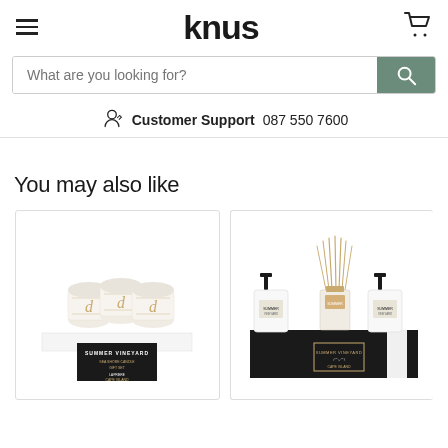knus — Customer Support 087 550 7600
What are you looking for?
Customer Support 087 550 7600
You may also like
[Figure (photo): Three glass candles in a gift box labeled 'Summer Vineyard' by Cape Island]
[Figure (photo): Two white pump bottles and a reed diffuser in a black gift box, luxury bath set by Cape Island]